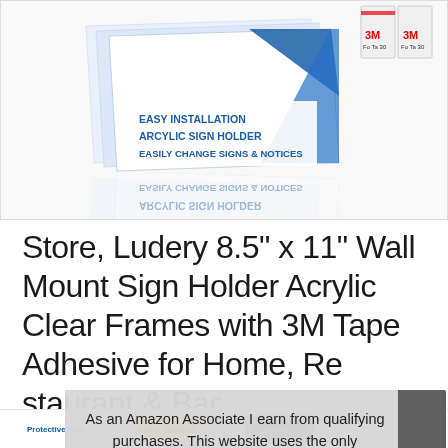[Figure (photo): Product photo of Ludery 8.5 x 11 inch wall mount acrylic sign holder frames with 3M tape adhesive. Shows clear acrylic holders with blue and white design, text reading EASY INSTALLATION, ARCYLIC SIGN HOLDER, EASILY CHANGE SIGNS & NOTICES. Also shows 3M tape strips and a mirror reflection of the product below.]
Store, Ludery 8.5" x 11" Wall Mount Sign Holder Acrylic Clear Frames with 3M Tape Adhesive for Home, Restaurant & Back Offi...
#ad
As an Amazon Associate I earn from qualifying purchases. This website uses the only necessary cookies to ensure you get the best experience on our website. More information
[Figure (screenshot): Bottom strip showing three product thumbnail images with small labels including 'Protective Film']